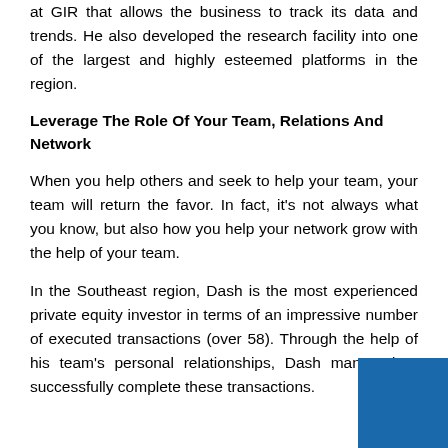at GIR that allows the business to track its data and trends. He also developed the research facility into one of the largest and highly esteemed platforms in the region.
Leverage The Role Of Your Team, Relations And Network
When you help others and seek to help your team, your team will return the favor. In fact, it's not always what you know, but also how you help your network grow with the help of your team.
In the Southeast region, Dash is the most experienced private equity investor in terms of an impressive number of executed transactions (over 58). Through the help of his team's personal relationships, Dash managed to successfully complete these transactions.